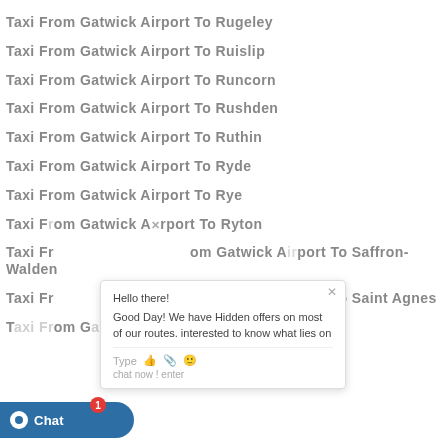Taxi From Gatwick Airport To Rugeley
Taxi From Gatwick Airport To Ruislip
Taxi From Gatwick Airport To Runcorn
Taxi From Gatwick Airport To Rushden
Taxi From Gatwick Airport To Ruthin
Taxi From Gatwick Airport To Ryde
Taxi From Gatwick Airport To Rye
Taxi From Gatwick Airport To Ryton
Taxi From Gatwick Airport To Saffron-Walden
Taxi From Gatwick Airport To Saint Agnes
Taxi From Gatwick Airport To Saint Albans